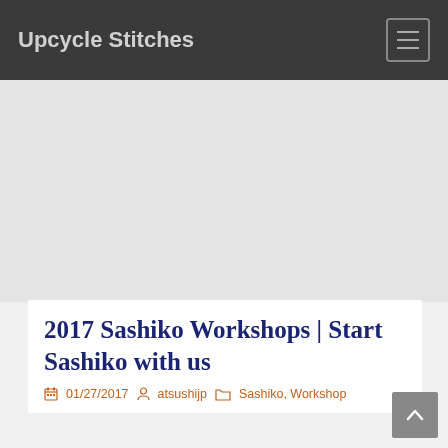Upcycle Stitches
[Figure (other): Large gray placeholder area, likely an advertisement or image banner]
2017 Sashiko Workshops | Start Sashiko with us
01/27/2017  atsushijp  Sashiko, Workshop